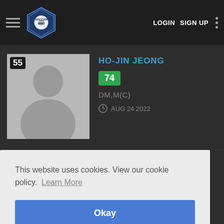Soccer Wiki — LOGIN   SIGN UP
HO-JIN JEONG | Rating: 74 | DM,M(C) | AUG 24 2022 | Jersey: 55
JOON-SEOB IM | Rating: 65 | GK | AUG 24 2022 | Jersey: 21
This website uses cookies. View our cookie policy. Learn More
Okay